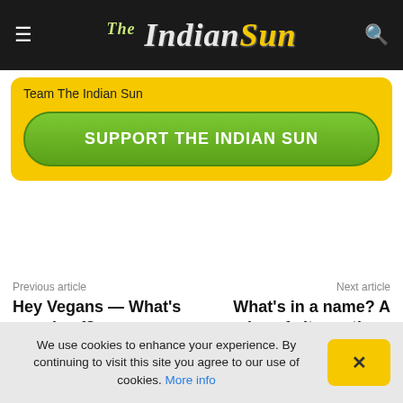The Indian Sun
Team The Indian Sun
SUPPORT THE INDIAN SUN
Previous article
Hey Vegans — What's your beef?
Next article
What's in a name? A series of altar-cations perhaps
We use cookies to enhance your experience. By continuing to visit this site you agree to our use of cookies. More info